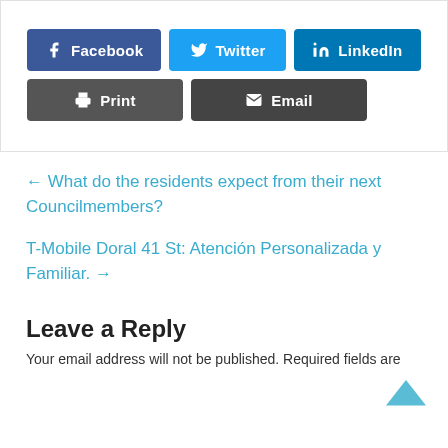[Figure (other): Social share buttons: Facebook, Twitter, LinkedIn, Print, Email]
← What do the residents expect from their next Councilmembers?
T-Mobile Doral 41 St: Atención Personalizada y Familiar. →
Leave a Reply
Your email address will not be published. Required fields are